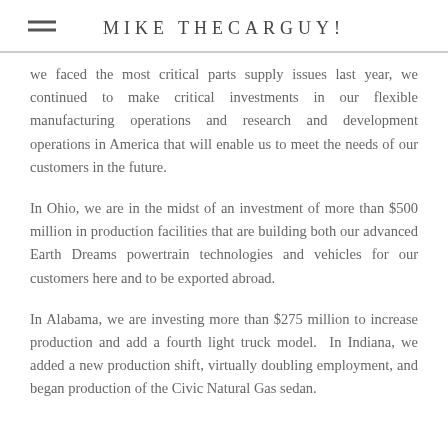MIKE THECARGUY!
we faced the most critical parts supply issues last year, we continued to make critical investments in our flexible manufacturing operations and research and development operations in America that will enable us to meet the needs of our customers in the future.
In Ohio, we are in the midst of an investment of more than $500 million in production facilities that are building both our advanced Earth Dreams powertrain technologies and vehicles for our customers here and to be exported abroad.
In Alabama, we are investing more than $275 million to increase production and add a fourth light truck model. In Indiana, we added a new production shift, virtually doubling employment, and began production of the Civic Natural Gas sedan.